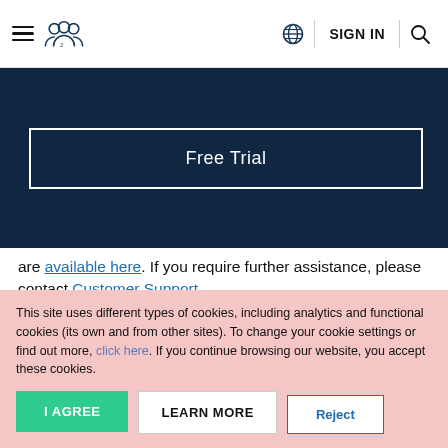Navigation bar with hamburger menu, users icon, globe icon, SIGN IN, search icon
[Figure (screenshot): Free Trial button on dark navy background]
are available here. If you require further assistance, please contact Customer Support.
This site uses different types of cookies, including analytics and functional cookies (its own and from other sites). To change your cookie settings or find out more, click here. If you continue browsing our website, you accept these cookies.